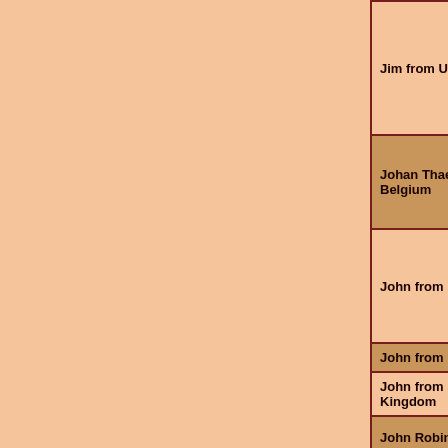| Name | What makes a didgeridoo authentic? | Additional info |
| --- | --- | --- |
| Jim from USA | as it could be Aboriginal made, made from agave in the US, made from local woods anywhere or even composites and still be a genuine didgeridoo | Aboriginal made, made from agave in the US, made from local woods anywhere or even composites and still be a genuine didgeridoo |
| Johan Thaens from Belgium | Should be coming from australia, made by aboriginals the way they've always made them | Sou... |
| John from USA | Today it can be form any number of materials from wood to pvc. | Today it can be form any number of materials from wood to pvc. |
| John from Ireland | Made from eucalypt and termites | Han... |
| John from United Kingdom | Made by aboriginal people to traditional methods | As a... |
| John Robinson from USA | It is made of natural materials. | A didgeridoo made by a... |
| Jon from Canada | Natural materials, hollowed out by termites | San... |